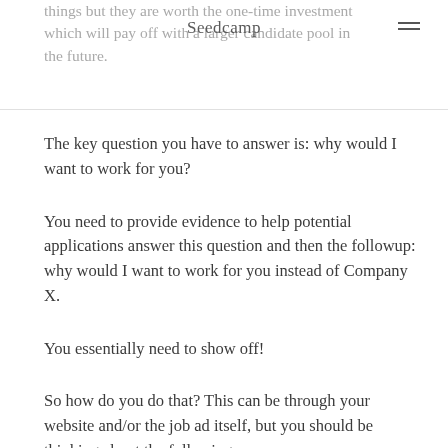things but they are worth the one-time investment which will pay off with a larger candidate pool in the future.
The key question you have to answer is: why would I want to work for you?
You need to provide evidence to help potential applications answer this question and then the followup: why would I want to work for you instead of Company X.
You essentially need to show off!
So how do you do that? This can be through your website and/or the job ad itself, but you should be thinking about the following: